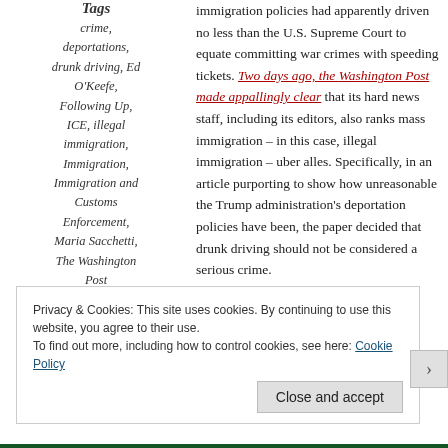Tags
crime,
deportations,
drunk driving, Ed O'Keefe,
Following Up,
ICE, illegal immigration,
Immigration,
Immigration and Customs Enforcement,
Maria Sacchetti,
The Washington Post
immigration policies had apparently driven no less than the U.S. Supreme Court to equate committing war crimes with speeding tickets. Two days ago, the Washington Post made appallingly clear that its hard news staff, including its editors, also ranks mass immigration – in this case, illegal immigration – uber alles. Specifically, in an article purporting to show how unreasonable the Trump administration's deportation policies have been, the paper decided that drunk driving should not be considered a serious crime.
Privacy & Cookies: This site uses cookies. By continuing to use this website, you agree to their use. To find out more, including how to control cookies, see here: Cookie Policy